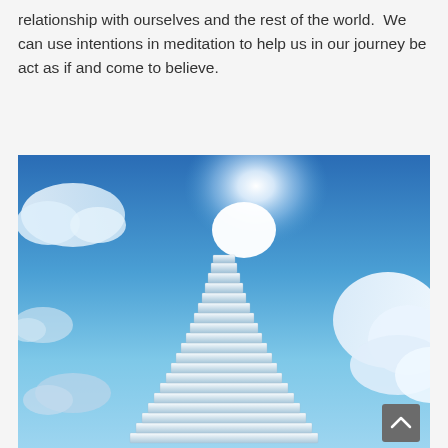relationship with ourselves and the rest of the world.  We can use intentions in meditation to help us in our journey be act as if and come to believe.
[Figure (photo): A staircase ascending toward a bright glowing sun in a blue sky with white clouds on either side, evoking a spiritual or uplifting concept of a stairway to heaven.]